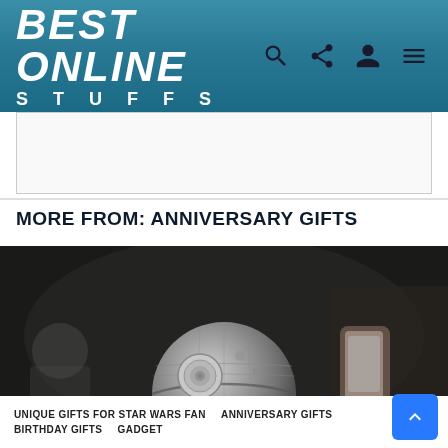BEST ONLINE STUFFS
[Figure (photo): White/light gray bordered advertisement placeholder area]
MORE FROM: ANNIVERSARY GIFTS
[Figure (photo): Photo of a Star Wars Death Star levitating Bluetooth speaker on a silver base, set on a dark surface, with a blurred person holding a smartphone in the background and another similar speaker visible in the back left]
UNIQUE GIFTS FOR STAR WARS FAN   ANNIVERSARY GIFTS   BIRTHDAY GIFTS   GADGET